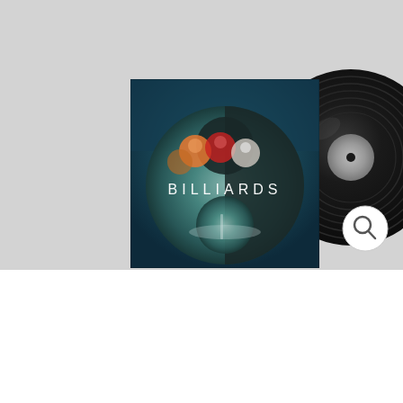[Figure (illustration): Vinyl record album mockup for 'BILLIARDS' - shows an album cover with blurred billiard balls and a circular yin-yang style design with 'BILLIARDS' text in white, paired with a black vinyl record extending to the right. Set against a light gray background. A magnifying glass search icon appears in the lower right of the image area.]
[Figure (other): Rounded rectangle menu button in muted rose/terracotta color with three horizontal lines (hamburger icon) and 'MENU' text in white capital letters with letter spacing]
BILLETS